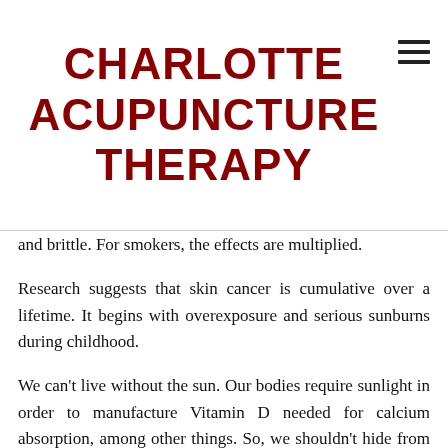CHARLOTTE ACUPUNCTURE THERAPY
and brittle. For smokers, the effects are multiplied.
Research suggests that skin cancer is cumulative over a lifetime. It begins with overexposure and serious sunburns during childhood.
We can't live without the sun. Our bodies require sunlight in order to manufacture Vitamin D needed for calcium absorption, among other things. So, we shouldn't hide from our shining star. Here are a few helpful tips and precautions to take when you're soaking in the sun this summer.
Time is key - Avoid sun exposure when the sun is at